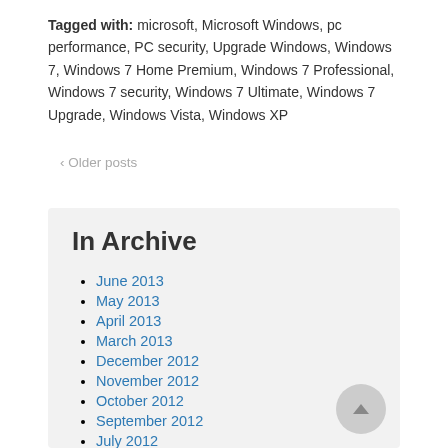Tagged with: microsoft, Microsoft Windows, pc performance, PC security, Upgrade Windows, Windows 7, Windows 7 Home Premium, Windows 7 Professional, Windows 7 security, Windows 7 Ultimate, Windows 7 Upgrade, Windows Vista, Windows XP
‹ Older posts
In Archive
June 2013
May 2013
April 2013
March 2013
December 2012
November 2012
October 2012
September 2012
July 2012